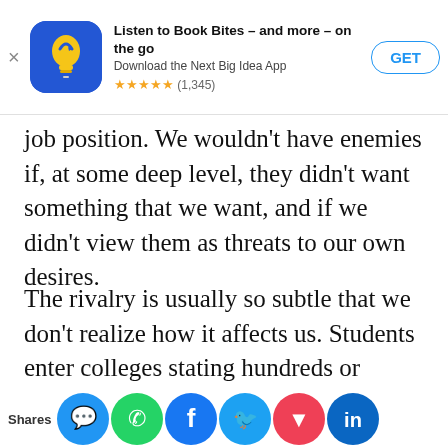[Figure (screenshot): App store banner: 'Listen to Book Bites – and more – on the go. Download the Next Big Idea App. 5 stars (1,345). GET button.']
job position. We wouldn't have enemies if, at some deep level, they didn't want something that we want, and if we didn't view them as threats to our own desires.
The rivalry is usually so subtle that we don't realize how it affects us. Students enter colleges stating hundreds or thousands of different jobs they are interested in pursuing. But by the time they graduate, they end up having converged on the same handful of industries, or even the same [job position. Th...sira...y of...ain...or]
Shares [social share icons]